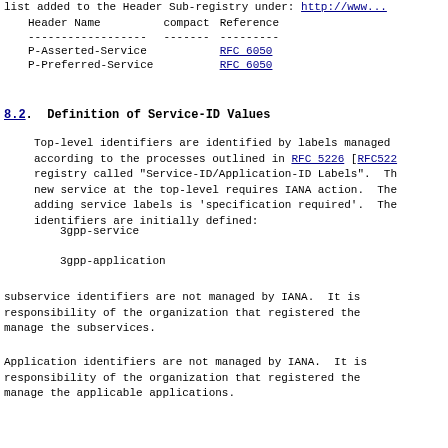list added to the Header Sub-registry under: http://www...
| Header Name | compact | Reference |
| --- | --- | --- |
| P-Asserted-Service |  | RFC 6050 |
| P-Preferred-Service |  | RFC 6050 |
8.2. Definition of Service-ID Values
Top-level identifiers are identified by labels managed according to the processes outlined in RFC 5226 [RFC522 registry called "Service-ID/Application-ID Labels". Th new service at the top-level requires IANA action. The adding service labels is 'specification required'. The identifiers are initially defined:
3gpp-service
3gpp-application
subservice identifiers are not managed by IANA. It is responsibility of the organization that registered the manage the subservices.
Application identifiers are not managed by IANA. It is responsibility of the organization that registered the manage the applicable applications.